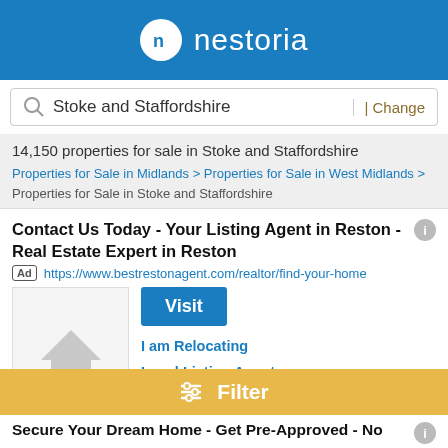nestoria
Stoke and Staffordshire | Change
14,150 properties for sale in Stoke and Staffordshire
Properties for Sale in Midlands > Properties for Sale in West Midlands > Properties for Sale in Stoke and Staffordshire
Contact Us Today - Your Listing Agent in Reston - Real Estate Expert in Reston
Ad https://www.bestrestonagent.com/realtor/find-your-home
[Figure (illustration): House icon placeholder image in grey]
I am Relocating
Local Listing Agents
I am Buying a Home
I am Selling a Home
Nikki Lagouros is the #1 Selling Real Estate Agent in Reston. Book Your Appointment Today! Ready to Find Your Dream Home? Work with One of The Top Real...
Filter
Secure Your Dream Home - Get Pre-Approved - No